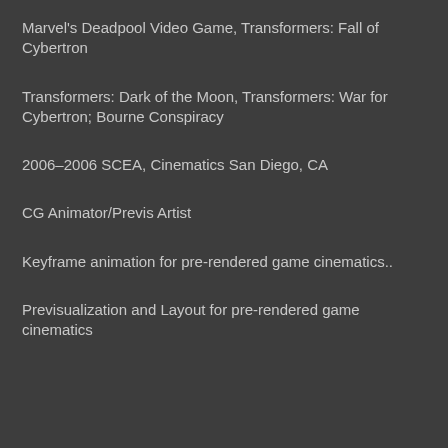Marvel's Deadpool Video Game, Transformers: Fall of Cybertron
Transformers: Dark of the Moon, Transformers: War for Cybertron; Bourne Conspiracy
2006–2006 SCEA, Cinematics San Diego, CA
CG Animator/Previs Artist
Keyframe animation for pre-rendered game cinematics..
Previsualization and Layout for pre-rendered game cinematics